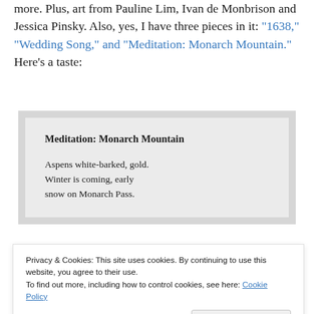more. Plus, art from Pauline Lim, Ivan de Monbrison and Jessica Pinsky. Also, yes, I have three pieces in it: “1638,” “Wedding Song,” and “Meditation: Monarch Mountain.” Here’s a taste:
Meditation: Monarch Mountain
Aspens white-barked, gold.
Winter is coming, early
snow on Monarch Pass.
Privacy & Cookies: This site uses cookies. By continuing to use this website, you agree to their use.
To find out more, including how to control cookies, see here: Cookie Policy
Close and accept
Stop along here, child